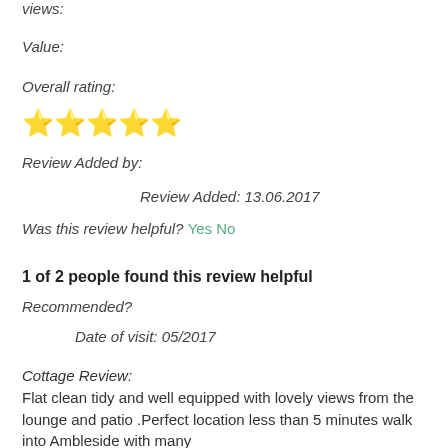views:
Value:
Overall rating:
[Figure (other): Five gold star rating icons]
Review Added by:
Review Added: 13.06.2017
Was this review helpful? Yes No
1 of 2 people found this review helpful
Recommended?
Date of visit: 05/2017
Cottage Review:
Flat clean tidy and well equipped with lovely views from the lounge and patio .Perfect location less than 5 minutes walk into Ambleside with many